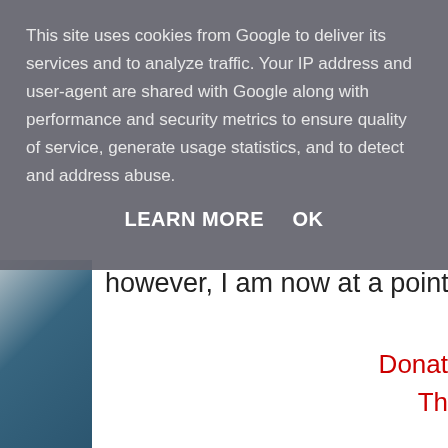This site uses cookies from Google to deliver its services and to analyze traffic. Your IP address and user-agent are shared with Google along with performance and security metrics to ensure quality of service, generate usage statistics, and to detect and address abuse.
LEARN MORE    OK
however, I am now at a point wher
[Figure (photo): Dark teal/blue angled decorative sidebar element on the left side of the page]
Donat
Th